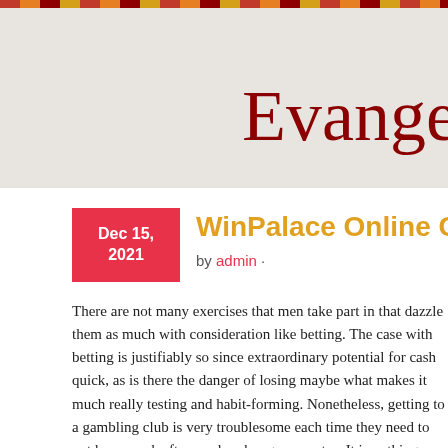Evange
WinPalace Online Casino R
by admin ·
There are not many exercises that men take part in that dazzle them as much with consideration like betting. The case with betting is justifiably so since extraordinary potential for cash quick, as is there the danger of losing maybe what makes it much really testing and habit-forming. Nonetheless, getting to a gambling club is very troublesome each time they need to not have week after week poker game mates. It is nothing unexpected individuals go to online gambling clubs, online poker and different ga